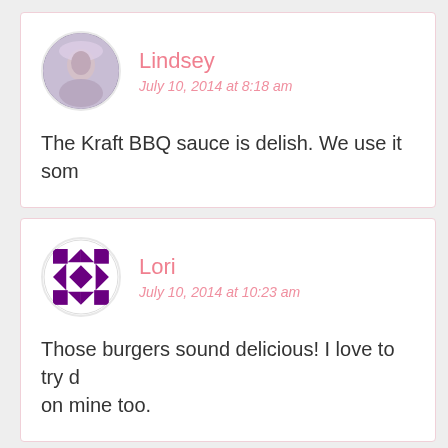Lindsey
July 10, 2014 at 8:18 am
The Kraft BBQ sauce is delish. We use it som
Lori
July 10, 2014 at 10:23 am
Those burgers sound delicious! I love to try d on mine too.
Shell